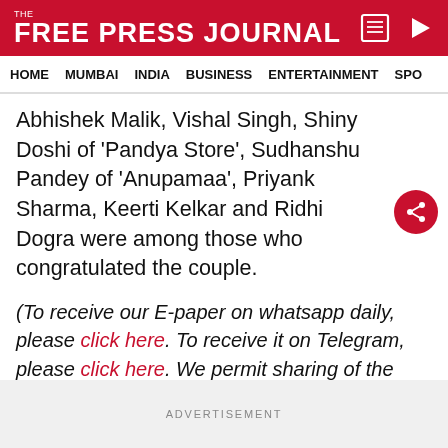THE FREE PRESS JOURNAL
HOME  MUMBAI  INDIA  BUSINESS  ENTERTAINMENT  SPO
Abhishek Malik, Vishal Singh, Shiny Doshi of 'Pandya Store', Sudhanshu Pandey of 'Anupamaa', Priyank Sharma, Keerti Kelkar and Ridhi Dogra were among those who congratulated the couple.
(To receive our E-paper on whatsapp daily, please click here. To receive it on Telegram, please click here. We permit sharing of the paper's PDF on WhatsApp and other social media platforms.)
ADVERTISEMENT